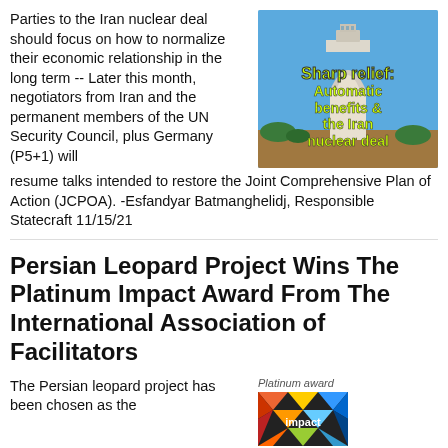Parties to the Iran nuclear deal should focus on how to normalize their economic relationship in the long term -- Later this month, negotiators from Iran and the permanent members of the UN Security Council, plus Germany (P5+1) will resume talks intended to restore the Joint Comprehensive Plan of Action (JCPOA). -Esfandyar Batmanghelidj, Responsible Statecraft 11/15/21
[Figure (photo): Photo of a tall monument/tower (Azadi Tower, Tehran) against a blue sky with yellow-green text overlay reading 'Sharp relief: Automatic benefits & the Iran nuclear deal']
Persian Leopard Project Wins The Platinum Impact Award From The International Association of Facilitators
The Persian leopard project has been chosen as the
Platinum award
[Figure (logo): Facilitation Impact logo — colorful stylized word 'impact' with facets]